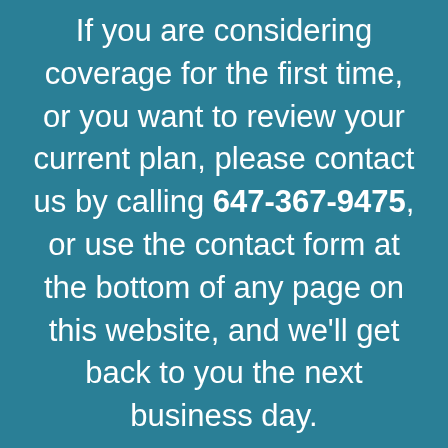If you are considering coverage for the first time, or you want to review your current plan, please contact us by calling 647-367-9475, or use the contact form at the bottom of any page on this website, and we'll get back to you the next business day.